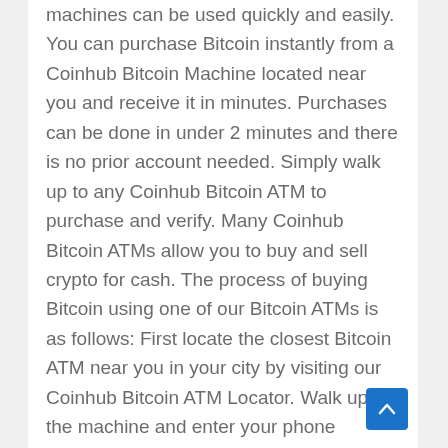machines can be used quickly and easily. You can purchase Bitcoin instantly from a Coinhub Bitcoin Machine located near you and receive it in minutes. Purchases can be done in under 2 minutes and there is no prior account needed. Simply walk up to any Coinhub Bitcoin ATM to purchase and verify. Many Coinhub Bitcoin ATMs allow you to buy and sell crypto for cash. The process of buying Bitcoin using one of our Bitcoin ATMs is as follows: First locate the closest Bitcoin ATM near you in your city by visiting our Coinhub Bitcoin ATM Locator. Walk up to the machine and enter your phone number. The machine will verify your phone using a code and scan the bitcoin wallet. Enter bills one bill at a time for the amount you would like to purchase and confirm the bitcoin atm prior to purchase. Bitcoin is then instantly sent to your wallet. The daily buying limit is $25,000. There are Bitcoin Machines located in major cities across the country.